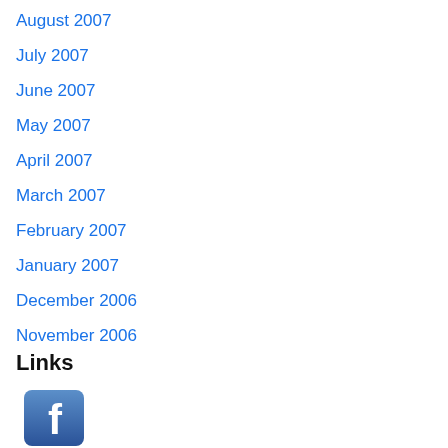August 2007
July 2007
June 2007
May 2007
April 2007
March 2007
February 2007
January 2007
December 2006
November 2006
Links
[Figure (logo): Facebook logo icon — blue rounded square with white letter f]